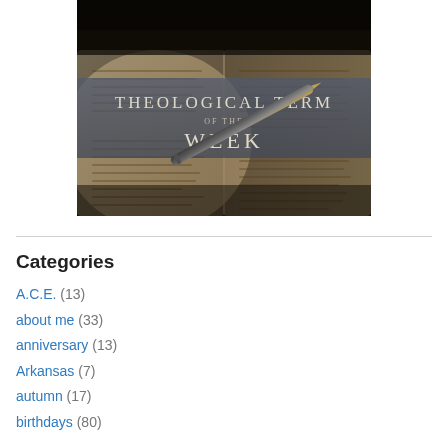[Figure (illustration): Theological Term of the Week - image of an open Bible with a pen resting on it, overlaid with semi-transparent banner text reading 'Theological Term of the Week']
Categories
A.C.E. (13)
about me (33)
anniversary (13)
Arkansas (7)
autumn (17)
birthdays (80)